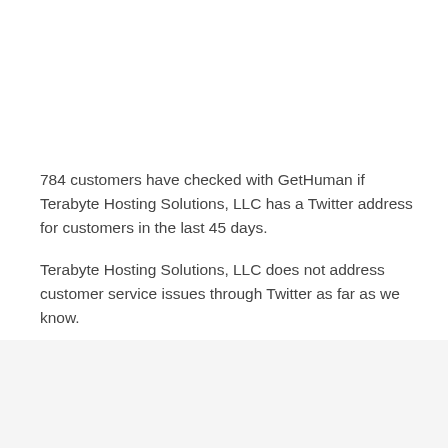784 customers have checked with GetHuman if Terabyte Hosting Solutions, LLC has a Twitter address for customers in the last 45 days.
Terabyte Hosting Solutions, LLC does not address customer service issues through Twitter as far as we know.
Terabyte Hosting Solutions, LLC Customer Service through Twitter